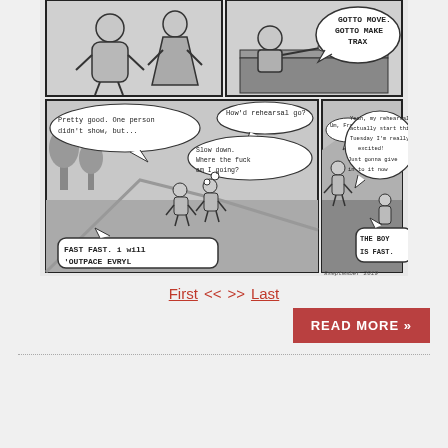[Figure (illustration): A four-panel black-and-white comic strip. Top-left panel: Two characters standing together. Top-right panel: Someone at a desk with a speech bubble 'GOTTO MOVE. GOTTO MAKE TRAX'. Bottom-left panel: Two characters walking outdoors, speech bubbles: 'Pretty good. One person didn't show, but...' 'How'd rehearsal go?' 'Slow down. Where the fuck am I going?' 'FAST FAST. i will OUTPACE EVRYL'. Bottom-right panel: Two characters on a path, speech bubbles: 'Um, Francis...' 'Yeah, my rehearsals actually start this Tuesday I'm really excited!' 'Just gonna give in to it now' 'THE BOY IS FAST.' Signed 8september 2019.]
First  <<   >>  Last   READ MORE »